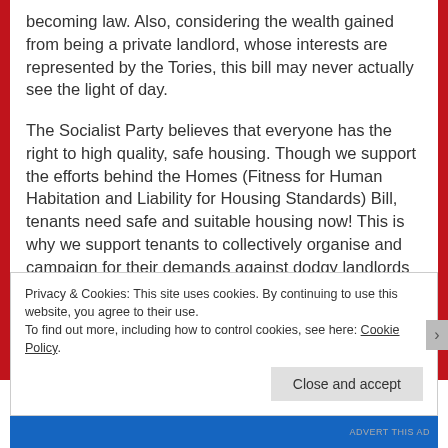becoming law. Also, considering the wealth gained from being a private landlord, whose interests are represented by the Tories, this bill may never actually see the light of day.
The Socialist Party believes that everyone has the right to high quality, safe housing. Though we support the efforts behind the Homes (Fitness for Human Habitation and Liability for Housing Standards) Bill, tenants need safe and suitable housing now! This is why we support tenants to collectively organise and campaign for their demands against dodgy landlords including, when necessary, rent strikes and/or non-payment of service charges.
Privacy & Cookies: This site uses cookies. By continuing to use this website, you agree to their use. To find out more, including how to control cookies, see here: Cookie Policy